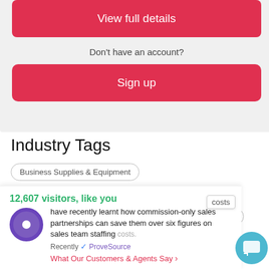View full details
Don't have an account?
Sign up
Industry Tags
Business Supplies & Equipment
Information Technology & Services
Marketing & Advertising
Online Publishing
Printing
12,607 visitors, like you
have recently learnt how commission-only sales partnerships can save them over six figures on sales team staffing costs.
Recently ✓ ProveSource
What Our Customers & Agents Say >